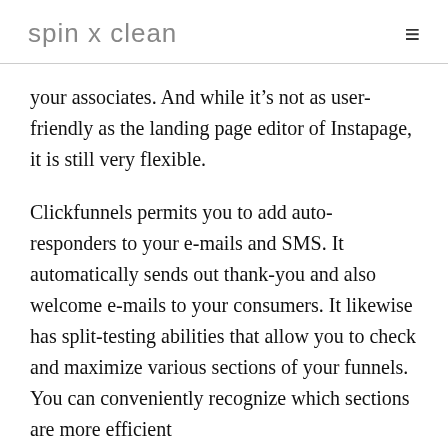spin x clean
your associates. And while it’s not as user-friendly as the landing page editor of Instapage, it is still very flexible.
Clickfunnels permits you to add auto-responders to your e-mails and SMS. It automatically sends out thank-you and also welcome e-mails to your consumers. It likewise has split-testing abilities that allow you to check and maximize various sections of your funnels. You can conveniently recognize which sections are more efficient